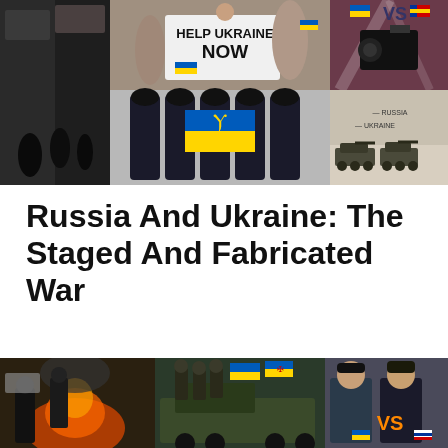[Figure (photo): Collage of images related to Russia-Ukraine conflict: dark silhouette scene, protest sign saying HELP UKRAINE NOW, spotlight camera scene, officers holding Ukrainian flag, map showing Russia and Ukraine, military tanks, VS graphic with country flags]
Russia And Ukraine: The Staged And Fabricated War
[Figure (photo): Bottom collage: riot/conflict scene with fire, military vehicle with Ukrainian and Nazi flags, two men facing each other with Ukrainian and Russian flag icons and VS text]